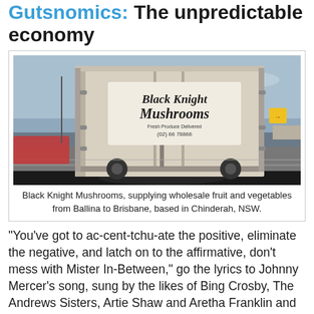Gutsnomics: The unpredictable economy
[Figure (photo): A delivery truck for Black Knight Mushrooms on a highway, viewed from behind, with the truck's rear doors visible showing the company name in gothic lettering. The scene shows a highway with other vehicles and a light blue sky.]
Black Knight Mushrooms, supplying wholesale fruit and vegetables from Ballina to Brisbane, based in Chinderah, NSW.
"You've got to ac-cent-tchu-ate the positive, eliminate the negative, and latch on to the affirmative, don't mess with Mister In-Between," go the lyrics to Johnny Mercer's song, sung by the likes of Bing Crosby, The Andrews Sisters, Artie Shaw and Aretha Franklin and composed by Harold Allen circa 1944, near the end of the second World War.